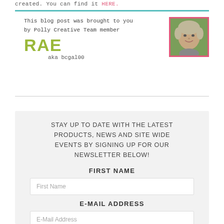created. You can find it HERE.
This blog post was brought to you by Polly Creative Team member RAE aka bcgal00
[Figure (photo): Headshot photo of a smiling woman with short blonde-gray hair, bordered in pink]
STAY UP TO DATE WITH THE LATEST PRODUCTS, NEWS AND SITE WIDE EVENTS BY SIGNING UP FOR OUR NEWSLETTER BELOW!
FIRST NAME
First Name
E-MAIL ADDRESS
E-Mail Address